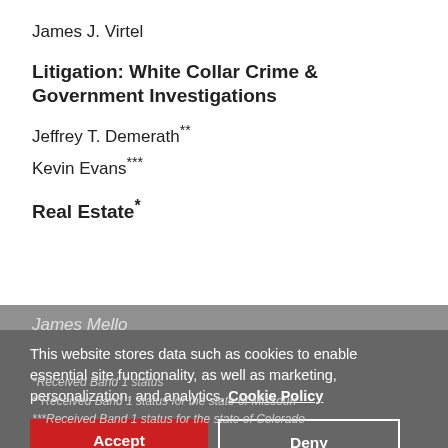James J. Virtel
Litigation: White Collar Crime & Government Investigations
Jeffrey T. Demerath**
Kevin Evans***
Real Estate*
James Mello
This website stores data such as cookies to enable essential site functionality, as well as marketing, personalization, and analytics. Cookie Policy
*Received Band 1 status
**Received Band 1 status for the state of Missouri
***Received Band 1 status for the state of Colorado